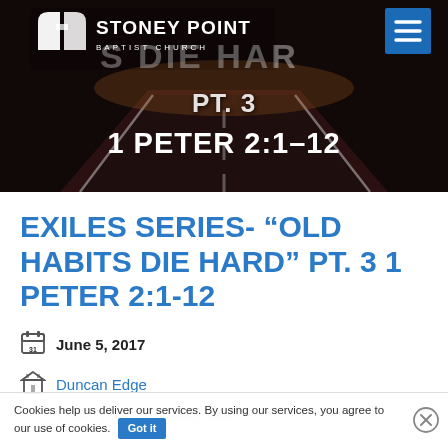[Figure (screenshot): Stoney Point Baptist Church website header showing a hero image of a road at night with text 'OLD HABITS DIE HARD PT. 3 / 1 PETER 2:1-12', the church logo on the top left, and a blue hamburger menu button on the top right.]
EXILES SERIES- “OLD HABITS DIE HARD” PT. 3 1 PETER 2:1-12
June 5, 2017
Duncan Edge
1 John, 1 Peter, Ephesians, John
Cookies help us deliver our services. By using our services, you agree to our use of cookies. Got it